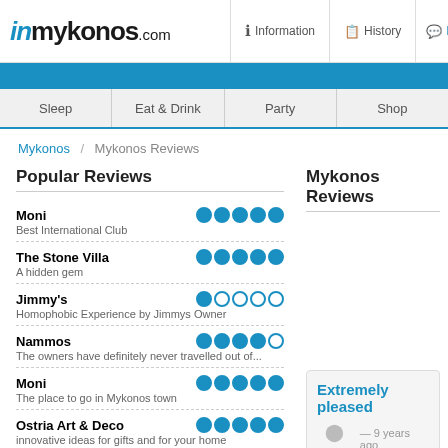inmykonos.com | Information | History | Reviews
Sleep | Eat & Drink | Party | Shop
Mykonos / Mykonos Reviews
Popular Reviews
Moni — Best International Club — 5 stars
The Stone Villa — A hidden gem — 5 stars
Jimmy's — Homophobic Experience by Jimmys Owner — 1 star
Nammos — The owners have definitely never travelled out of... — 4 stars
Moni — The place to go in Mykonos town — 5 stars
Ostria Art & Deco — innovative ideas for gifts and for your home — 5 stars
Ilias Lalaounis — Jewelry to die for! — 5 stars
Mykonos Reviews
Extremely pleased
— 9 years ago